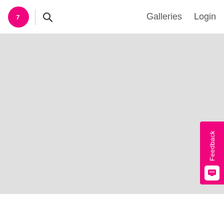Galleries  Login
[Figure (map): Gray placeholder map area]
Feedback
Details  Events  Photos
Book Now